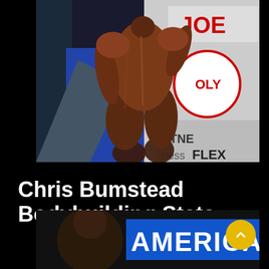[Figure (photo): A muscular bodybuilder posing on stage from behind, showing extreme muscle definition. Background shows 'JOE' and 'FITNESS FLEX' signage with blue and gray backdrop.]
Chris Bumstead Bodybuilding Stats
[Figure (photo): Bottom portion of a photo showing a person at what appears to be a bodybuilding competition, with 'AMERICA' text visible on a blue banner in the background.]